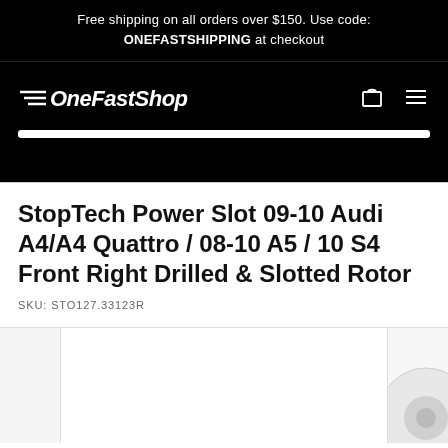Free shipping on all orders over $150. Use code: ONEFASTSHIPPING at checkout
[Figure (logo): OneFastShop logo with speed lines, white text on black background, nav bar with cart and hamburger menu icons, search bar]
StopTech Power Slot 09-10 Audi A4/A4 Quattro / 08-10 A5 / 10 S4 Front Right Drilled & Slotted Rotor
SKU: STO127.33123R
[Figure (photo): Product thumbnail images of a drilled and slotted brake rotor, partially visible on the right side of the image strip]